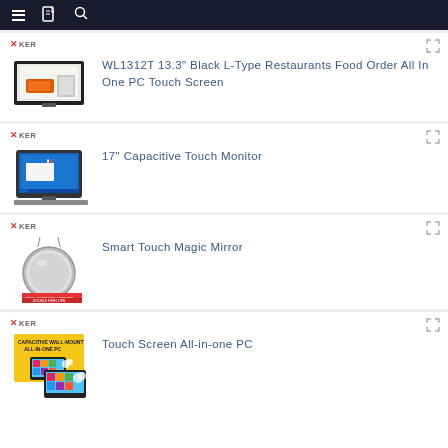Navigation bar with menu, bookmark, and search icons
XKER — WL1312T 13.3" Black L-Type Restaurants Food Order All In One PC Touch Screen
XKER — 17" Capacitive Touch Monitor
XKER — Smart Touch Magic Mirror
XKER — Touch Screen All-in-one PC